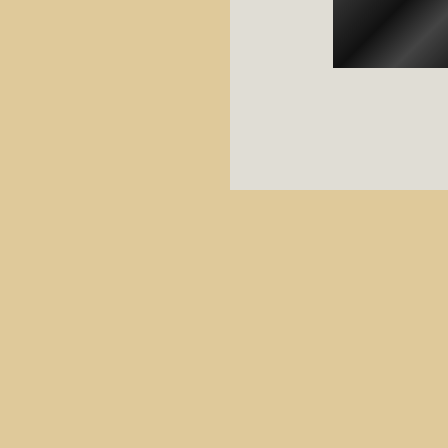[Figure (photo): Black and white photograph, partially visible in upper right corner of page]
From 1949 onwards varied from farce to t Slept Here. In additio national festivals wh similar groups in a s
The Harcourt Player different plays rangin early performances w dressing rooms and chairs that had to be
Head man for the fro Cyril attended every
Key to the work of th Les Mason who lived painter, decorator ar